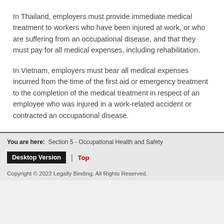In Thailand, employers must provide immediate medical treatment to workers who have been injured at work, or who are suffering from an occupational disease, and that they must pay for all medical expenses, including rehabilitation.
In Vietnam, employers must bear all medical expenses incurred from the time of the first aid or emergency treatment to the completion of the medical treatment in respect of an employee who was injured in a work-related accident or contracted an occupational disease.
You are here: Section 5 - Occupational Health and Safety
Desktop Version | Top
Copyright © 2022 Legally Binding. All Rights Reserved.